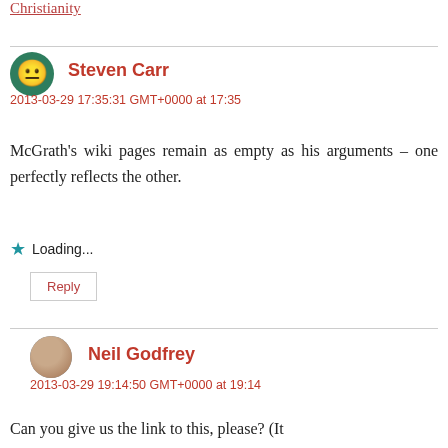Christianity
Steven Carr
2013-03-29 17:35:31 GMT+0000 at 17:35
McGrath's wiki pages remain as empty as his arguments – one perfectly reflects the other.
Loading...
Reply
Neil Godfrey
2013-03-29 19:14:50 GMT+0000 at 19:14
Can you give us the link to this, please? (It